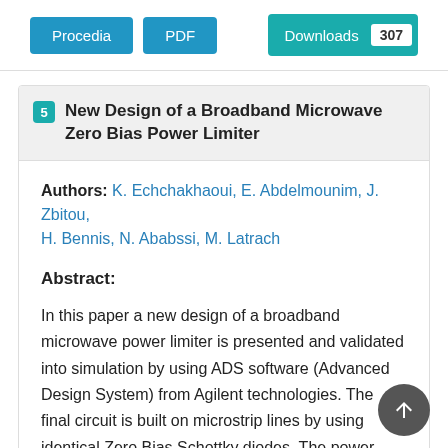Procedia | PDF | Downloads 307
New Design of a Broadband Microwave Zero Bias Power Limiter
Authors: K. Echchakhaoui, E. Abdelmounim, J. Zbitou, H. Bennis, N. Ababssi, M. Latrach
Abstract:
In this paper a new design of a broadband microwave power limiter is presented and validated into simulation by using ADS software (Advanced Design System) from Agilent technologies. The final circuit is built on microstrip lines by using identical Zero Bias Schottky diodes. The power limiter is designed by Associating 3 stages Schottky diodes. The obtained